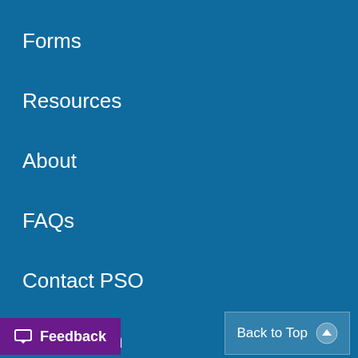Forms
Resources
About
FAQs
Contact PSO
PSO Login
With AHRQ
[Figure (infographic): Social media icons: Facebook, Twitter, YouTube, LinkedIn]
Feedback
Back to Top